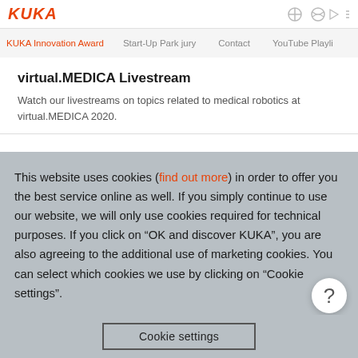KUKA
KUKA Innovation Award   Start-Up Park jury   Contact   YouTube Playli...
virtual.MEDICA Livestream
Watch our livestreams on topics related to medical robotics at virtual.MEDICA 2020.
This website uses cookies (find out more) in order to offer you the best service online as well. If you simply continue to use our website, we will only use cookies required for technical purposes. If you click on “OK and discover KUKA”, you are also agreeing to the additional use of marketing cookies. You can select which cookies we use by clicking on “Cookie settings”.
Cookie settings